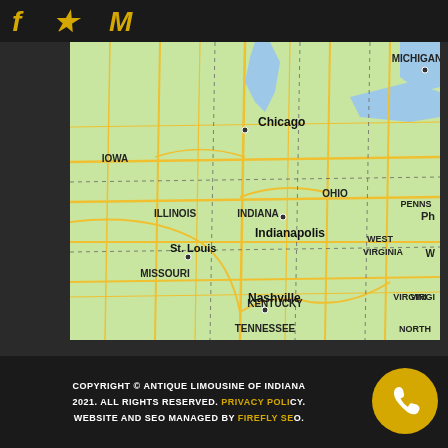ANTIQUE LIMOUSINE (logo partial)
[Figure (map): Road map showing US Midwest and Eastern states including Iowa, Illinois, Indiana, Ohio, Missouri, Kentucky, Tennessee, Michigan, West Virginia, Virginia, Pennsylvania. Cities labeled: Chicago, Indianapolis, St. Louis, Nashville. Major highways shown as yellow lines on green terrain background.]
COPYRIGHT © ANTIQUE LIMOUSINE OF INDIANA 2021. ALL RIGHTS RESERVED. PRIVACY POLICY. WEBSITE AND SEO MANAGED BY FIREFLY SEO.